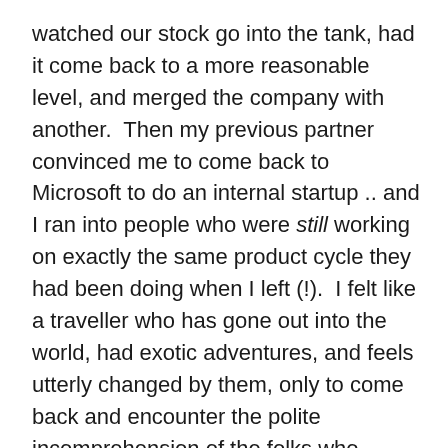watched our stock go into the tank, had it come back to a more reasonable level, and merged the company with another.  Then my previous partner convinced me to come back to Microsoft to do an internal startup .. and I ran into people who were still working on exactly the same product cycle they had been doing when I left (!).  I felt like a traveller who has gone out into the world, had exotic adventures, and feels utterly changed by them, only to come back and encounter the polite incomprehension of the folks who stayed at home muddling along just as usual.
Another thing is that you typically get involved in a much broader range of activity.  At a big company, division of labor exists (must exist!) at an extreme.  There are hundreds of finance people at Microsoft who are extremely